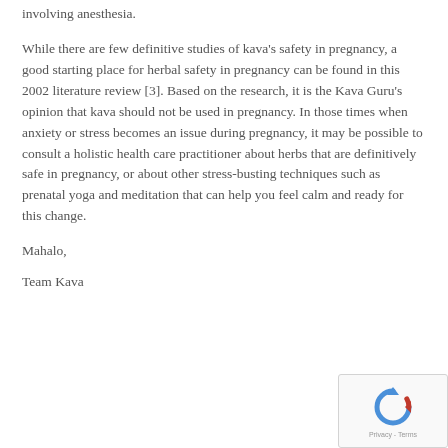involving anesthesia.
While there are few definitive studies of kava's safety in pregnancy, a good starting place for herbal safety in pregnancy can be found in this 2002 literature review [3]. Based on the research, it is the Kava Guru's opinion that kava should not be used in pregnancy. In those times when anxiety or stress becomes an issue during pregnancy, it may be possible to consult a holistic health care practitioner about herbs that are definitively safe in pregnancy, or about other stress-busting techniques such as prenatal yoga and meditation that can help you feel calm and ready for this change.
Mahalo,
Team Kava